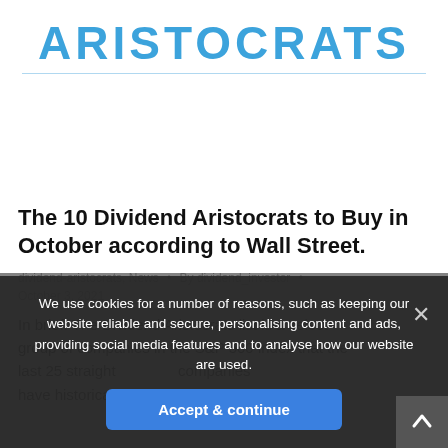[Figure (logo): Aristocrats logo in blue bold text with thin blue underline]
The 10 Dividend Aristocrats to Buy in October according to Wall Street.
dividend-aristocrats, News • By dividend_investor •
October 3, 2021
In brief: The Dividend Aristocrats list is a select group of companies in the S&P 500 index that have historically provided (slightly) better
We use cookies for a number of reasons, such as keeping our website reliable and secure, personalising content and ads, providing social media features and to analyse how our website are used.